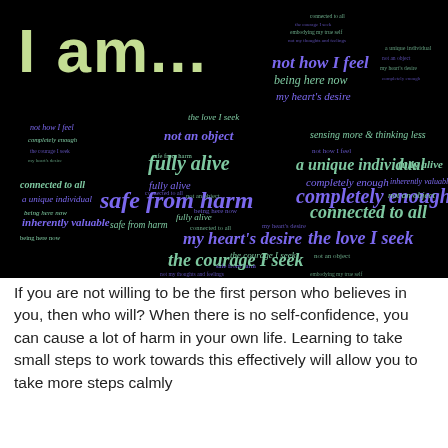[Figure (illustration): A word cloud in the shape of a person flexing with fists raised. Black background. Title text 'I am...' in large white chalk-style lettering top left. The silhouette of the person is filled with green and purple affirmations repeated in various sizes: 'not how I feel', 'being here now', 'my heart's desire', 'the love I seek', 'not an object', 'a unique individual', 'fully alive', 'completely enough', 'connected to all', 'inherently valuable', 'safe from harm', 'the courage I seek', 'sensing more & thinking less', 'safe from harm', 'embodying my true self', 'not my thoughts and feelings', 'a unique individual', 'fully alive', 'connected to all', 'the love I seek', 'my heart's desire', 'the courage I seek'.]
If you are not willing to be the first person who believes in you, then who will? When there is no self-confidence, you can cause a lot of harm in your own life. Learning to take small steps to work towards this effectively will allow you to take more steps calmly